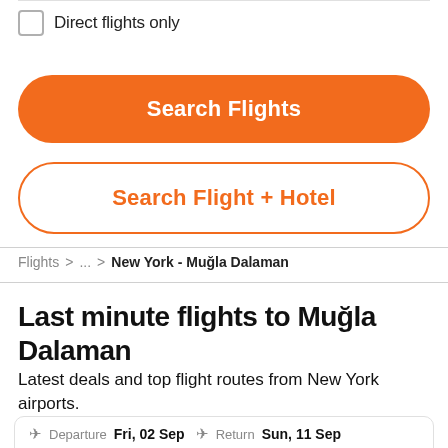Direct flights only
Search Flights
Search Flight + Hotel
Flights > ... > New York - Muğla Dalaman
Last minute flights to Muğla Dalaman
Latest deals and top flight routes from New York airports.
Departure  Fri, 02 Sep  Return  Sun, 11 Sep